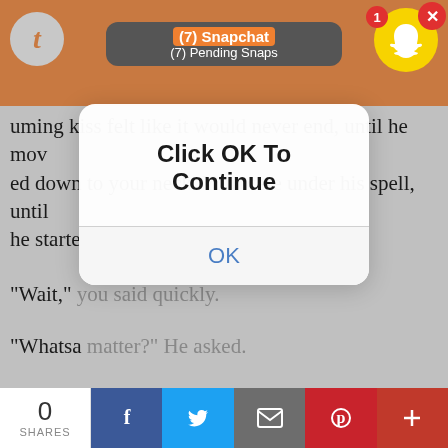[Figure (screenshot): Screenshot of a mobile browser showing a Tumblr story page with a Snapchat notification overlay and a 'Click OK To Continue' modal dialog. The background shows fiction text. A social share bar appears at the bottom.]
uming kiss felt like it would never end, until he mov ed down to your neck. You were under his spell, until he started to pull your shirt up.
"Wait," you said quickly.
"Whatsa matter?" He asked.
"Umm... I'm just gonna keep my shirt on, ok." He loo ked suspicious and bit his lip.
"Why?" He dared to ask quietly, disappointed.
"I'm just... more comfortable with it on. Ok?"
0 SHARES